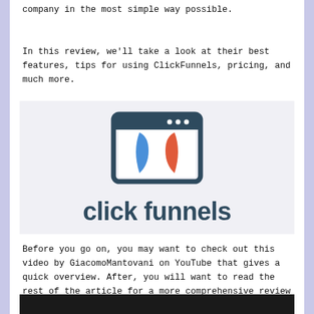company in the most simple way possible.
In this review, we'll take a look at their best features, tips for using ClickFunnels, pricing, and much more.
[Figure (logo): ClickFunnels logo: a browser-style window icon with blue and red interlocking funnel/gear shapes, with the wordmark 'click funnels' in dark blue-gray below]
Before you go on, you may want to check out this video by GiacomoMantovani on YouTube that gives a quick overview. After, you will want to read the rest of the article for a more comprehensive review of ClickFunnels.
[Figure (screenshot): Bottom edge of a dark video thumbnail]